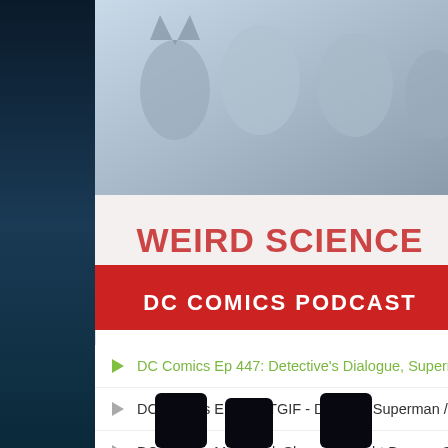[Figure (screenshot): Screenshot of the Weird Science DC Comics Podcast player interface showing podcast cover art, episode title, audio player controls, and a list of recent episodes.]
Weird Science DC Comics Podcast
DC Comics Ep 447: Detectiv…
0:00
DC Comics Ep 447: Detective's Dialogue, Superman's Kn…
DC Comics Ep 446: TGIF - Death of Superman / DCYou Ta…
DC Comics Mid-Week Show: Spotlight Bonus - Sword of A…
DC Comics Ep 445: Worlds Finest Circus Mysteries, Night…
DC Comics Ep 444: TGIF Dark Crisis Tie-in Special - Dark…